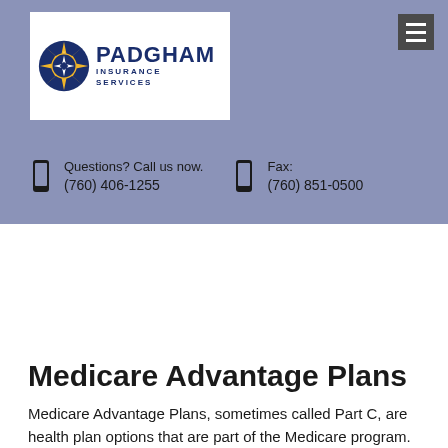[Figure (logo): Padgham Insurance Services logo with star/sun emblem in blue and yellow]
Questions? Call us now.
(760) 406-1255
Fax:
(760) 851-0500
Medicare Advantage Plans
Medicare Advantage Plans, sometimes called Part C, are health plan options that are part of the Medicare program.